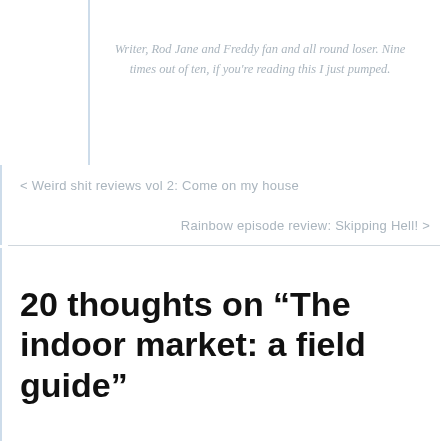Writer, Rod Jane and Freddy fan and all round loser. Nine times out of ten, if you're reading this I just pumped.
< Weird shit reviews vol 2: Come on my house
Rainbow episode review: Skipping Hell! >
20 thoughts on “The indoor market: a field guide”
Alex the Pensmith
January 21, 2019 at 9:38 pm
I don't know if you've ever been to Chelmsford before